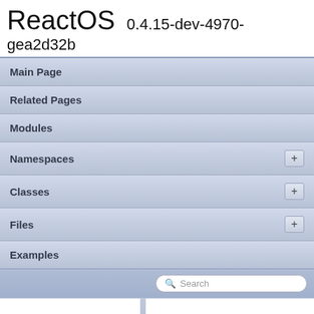ReactOS 0.4.15-dev-4970-gea2d32b
Main Page
Related Pages
Modules
Namespaces
Classes
Files
Examples
Search
_locale.h
sdk > include > c++ > stlport > stl > _locale.h